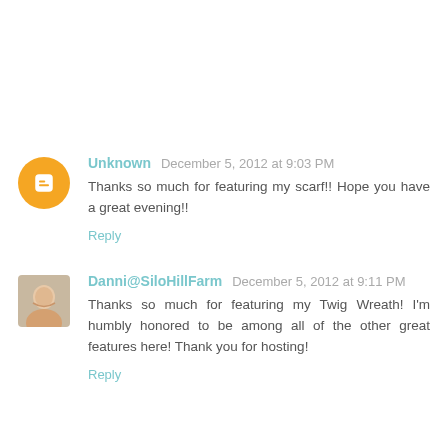Unknown  December 5, 2012 at 9:03 PM
Thanks so much for featuring my scarf!! Hope you have a great evening!!
Reply
Danni@SiloHillFarm  December 5, 2012 at 9:11 PM
Thanks so much for featuring my Twig Wreath! I'm humbly honored to be among all of the other great features here! Thank you for hosting!
Reply